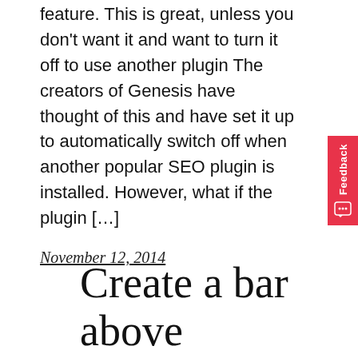feature. This is great, unless you don't want it and want to turn it off to use another plugin The creators of Genesis have thought of this and have set it up to automatically switch off when another popular SEO plugin is installed. However, what if the plugin […]
November 12, 2014
Create a bar above